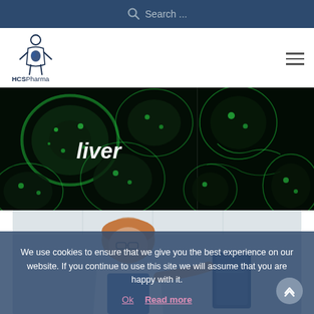Search ...
[Figure (logo): HCSPharma logo — stylized human figure with organ highlight and text HCSPharma]
[Figure (photo): Split fluorescence microscopy image of liver cells stained green on dark background, with the word 'liver' overlaid in white italic bold text]
[Figure (photo): Partial photo of a person in a laboratory or office setting, partially obscured by cookie consent overlay]
We use cookies to ensure that we give you the best experience on our website. If you continue to use this site we will assume that you are happy with it.
Ok   Read more